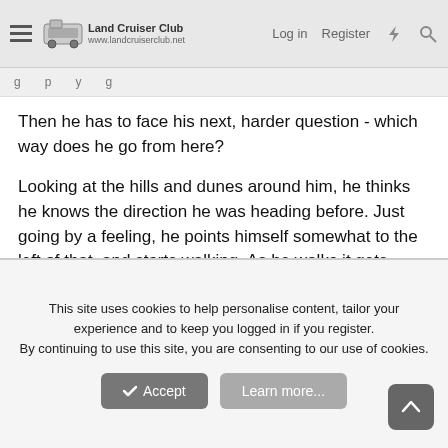Land Cruiser Club | Log in | Register
Then he has to face his next, harder question - which way does he go from here?
Looking at the hills and dunes around him, he thinks he knows the direction he was heading before. Just going by a feeling, he points himself somewhat to the left of that, and starts walking. As he walks it gets hotter. He decides that it's time to try the windshield wiper fluid. He can't wait any longer - if he passes out, he's dead. He stops in the shade of a large rock, takes the bottle out and takes a mouthful. He slowly swallows it, making it last as long as he can. It feels so good in his dry and cracked throat that he doesn't even care about the nasty taste. He takes another mouthful, and makes it last too. Slowly, he drinks half
This site uses cookies to help personalise content, tailor your experience and to keep you logged in if you register.
By continuing to use this site, you are consenting to our use of cookies.